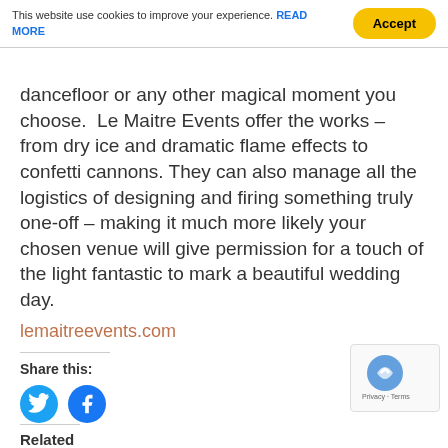This website use cookies to improve your experience. READ MORE  Accept
dancefloor or any other magical moment you choose.  Le Maitre Events offer the works – from dry ice and dramatic flame effects to confetti cannons. They can also manage all the logistics of designing and firing something truly one-off – making it much more likely your chosen venue will give permission for a touch of the light fantastic to mark a beautiful wedding day.
lemaitreevents.com
Share this:
[Figure (illustration): Twitter and Facebook social share circular icon buttons (cyan Twitter bird icon and blue Facebook 'f' icon)]
Related